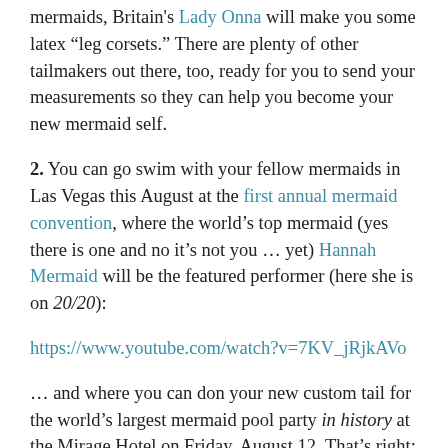mermaids, Britain's Lady Onna will make you some latex “leg corsets.” There are plenty of other tailmakers out there, too, ready for you to send your measurements so they can help you become your new mermaid self.
2. You can go swim with your fellow mermaids in Las Vegas this August at the first annual mermaid convention, where the world’s top mermaid (yes there is one and no it’s not you … yet) Hannah Mermaid will be the featured performer (here she is on 20/20):
https://www.youtube.com/watch?v=7KV_jRjkAVo
… and where you can don your new custom tail for the world’s largest mermaid pool party in history at the Mirage Hotel on Friday, August 12. That’s right: hundreds of mermaids (and mermen) in tails, swimming together in a huge pool in Las Vegas. You might want to bring along a husky male or two to carry you from your suite and drop your betailed self gallantly into the water. (Bonus tip: get